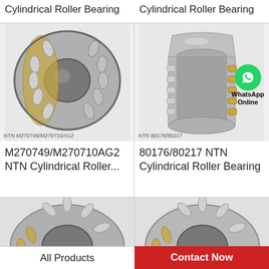Cylindrical Roller Bearing
Cylindrical Roller Bearing
[Figure (photo): NTN M270749/M270710AG2 cylindrical roller bearing, silver and gold colored, shown at angle]
NTN M270749/M270710AG2
[Figure (photo): NTN 80176/80217 cylindrical roller bearing, silver colored, side view with WhatsApp Online badge overlay]
NTN 80176/80217
M270749/M270710AG2 NTN Cylindrical Roller...
80176/80217 NTN Cylindrical Roller Bearing
[Figure (photo): Partial view of cylindrical roller bearing, silver and gold colored]
[Figure (photo): Partial view of cylindrical roller bearing, silver and gold colored]
All Products
Contact Now